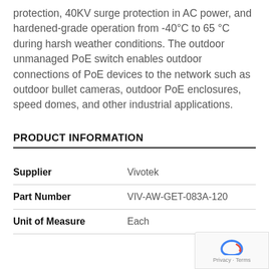protection, 40KV surge protection in AC power, and hardened-grade operation from -40°C to 65 °C during harsh weather conditions. The outdoor unmanaged PoE switch enables outdoor connections of PoE devices to the network such as outdoor bullet cameras, outdoor PoE enclosures, speed domes, and other industrial applications.
PRODUCT INFORMATION
|  |  |
| --- | --- |
| Supplier | Vivotek |
| Part Number | VIV-AW-GET-083A-120 |
| Unit of Measure | Each |